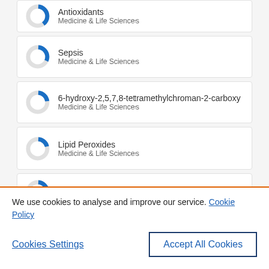[Figure (donut-chart): Partial donut chart card for Antioxidants keyword]
Antioxidants
Medicine & Life Sciences
[Figure (donut-chart): Donut chart showing partial fill in blue for Sepsis keyword]
Sepsis
Medicine & Life Sciences
[Figure (donut-chart): Donut chart showing partial fill for 6-hydroxy keyword]
6-hydroxy-2,5,7,8-tetramethylchroman-2-carboxy
Medicine & Life Sciences
[Figure (donut-chart): Donut chart showing partial fill for Lipid Peroxides keyword]
Lipid Peroxides
Medicine & Life Sciences
[Figure (donut-chart): Partial donut chart card for Acetylcysteine keyword (cut off)]
Acetylcysteine
We use cookies to analyse and improve our service. Cookie Policy
Cookies Settings
Accept All Cookies